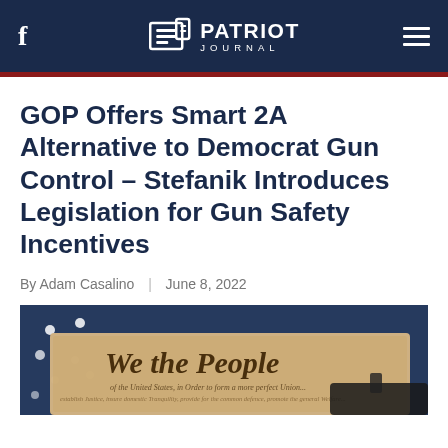PATRIOT JOURNAL
GOP Offers Smart 2A Alternative to Democrat Gun Control – Stefanik Introduces Legislation for Gun Safety Incentives
By Adam Casalino  |  June 8, 2022
[Figure (photo): Photo of the US Constitution parchment (We the People) with an American flag in the background]